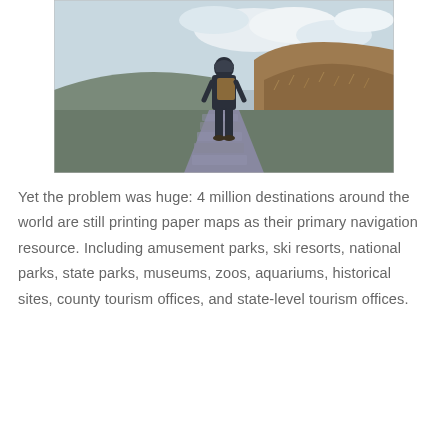[Figure (photo): A person wearing a hoodie and backpack, seen from behind, walking along a stone path in a rugged, hilly landscape under a partly cloudy sky.]
Yet the problem was huge: 4 million destinations around the world are still printing paper maps as their primary navigation resource. Including amusement parks, ski resorts, national parks, state parks, museums, zoos, aquariums, historical sites, county tourism offices, and state-level tourism offices.